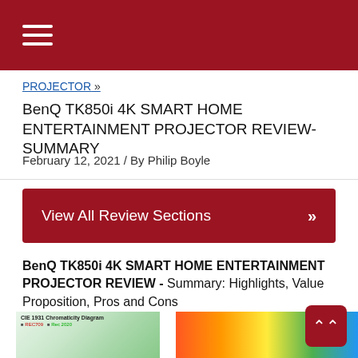Navigation menu (hamburger icon)
PROJECTOR »
BenQ TK850i 4K SMART HOME ENTERTAINMENT PROJECTOR REVIEW-SUMMARY
February 12, 2021 / By Philip Boyle
View All Review Sections »
BenQ TK850i 4K SMART HOME ENTERTAINMENT PROJECTOR REVIEW - Summary: Highlights, Value Proposition, Pros and Cons
HIGHLIGHTS
[Figure (other): Partial view of two images at bottom of page: a chromaticity diagram on the left and a colorful rainbow/spectrum image on the right]